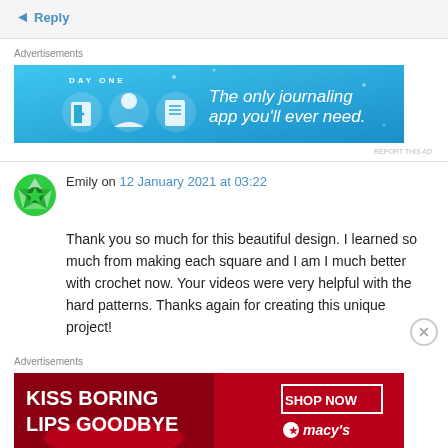↳ Reply
Advertisements
[Figure (photo): Blue banner ad for Day One journaling app: 'The only journaling app you'll ever need.']
Emily on 12 January 2021 at 03:22
Thank you so much for this beautiful design. I learned so much from making each square and I am I much better with crochet now. Your videos were very helpful with the hard patterns. Thanks again for creating this unique project!
Advertisements
[Figure (photo): Macy's red banner ad: 'KISS BORING LIPS GOODBYE' with SHOP NOW button and Macy's logo]